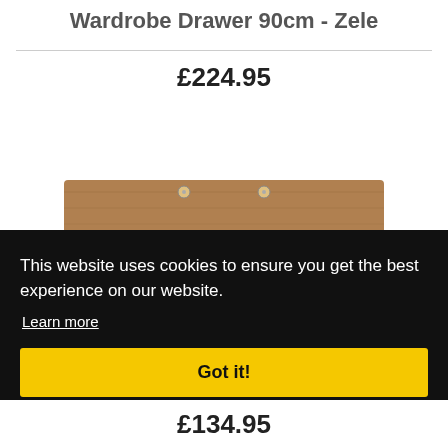Wardrobe Drawer 90cm - Zele
£224.95
[Figure (photo): Top portion of a wooden wardrobe drawer unit, showing the top surface with two small circular handles/knobs visible.]
This website uses cookies to ensure you get the best experience on our website.
Learn more
Got it!
£134.95